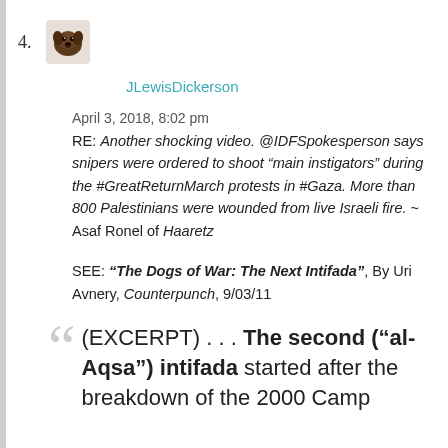4.
[Figure (photo): Small dog avatar/emoji thumbnail]
JLewisDickerson
April 3, 2018, 8:02 pm
RE: Another shocking video. @IDFSpokesperson says snipers were ordered to shoot “main instigators” during the #GreatReturnMarch protests in #Gaza. More than 800 Palestinians were wounded from live Israeli fire. ~ Asaf Ronel of Haaretz
SEE: “The Dogs of War: The Next Intifada”, By Uri Avnery, Counterpunch, 9/03/11
(EXCERPT) . . . The second (“al-Aqsa”) intifada started after the breakdown of the 2000 Camp